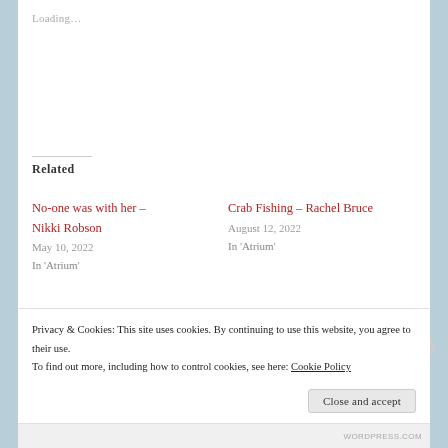Loading…
Related
No-one was with her – Nikki Robson
May 10, 2022
In 'Atrium'
Crab Fishing – Rachel Bruce
August 12, 2022
In 'Atrium'
Archive – Jacqueline Haskell
August 5, 2022
In 'Atrium'
Privacy & Cookies: This site uses cookies. By continuing to use this website, you agree to their use. To find out more, including how to control cookies, see here: Cookie Policy
Close and accept